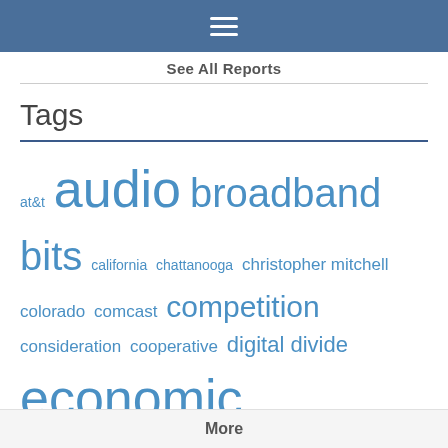☰
See All Reports
Tags
at&t audio broadband bits california chattanooga christopher mitchell colorado comcast competition consideration cooperative digital divide economic development event fcc federal fiber financing FTTH gigabit grant legislation local media roundup minnesota muni north carolina open access partnership podcast policy preemption rural school state laws tennessee transcript utility video Wireless
More